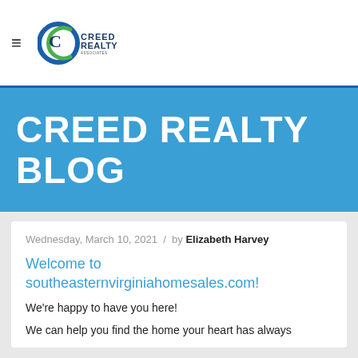≡  CREED REALTY [logo]
CREED REALTY BLOG
Wednesday, March 10, 2021  /  by Elizabeth Harvey
Welcome to southeasternvirginiahomesales.com!
We're happy to have you here!
We can help you find the home your heart has always